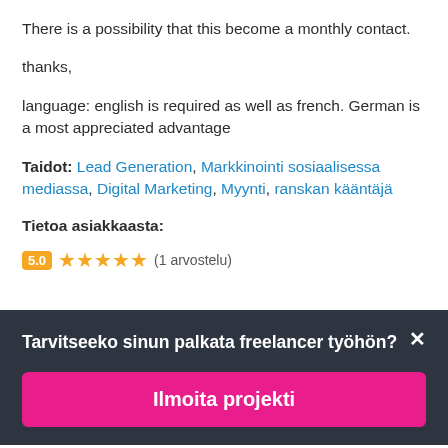There is a possibility that this become a monthly contact.
thanks,
language: english is required as well as french. German is a most appreciated advantage
Taidot: Lead Generation, Markkinointi sosiaalisessa mediassa, Digital Marketing, Myynti, ranskan kääntäjä
Tietoa asiakkaasta:
5.0 ★★★★★ (1 arvostelu)
Tarvitseeko sinun palkata freelancer työhön?
Ilmoita projekti